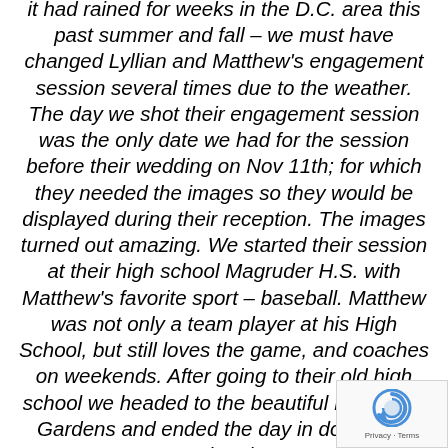it had rained for weeks in the D.C. area this past summer and fall – we must have changed Lyllian and Matthew's engagement session several times due to the weather. The day we shot their engagement session was the only date we had for the session before their wedding on Nov 11th; for which they needed the images so they would be displayed during their reception. The images turned out amazing. We started their session at their high school Magruder H.S. with Matthew's favorite sport – baseball. Matthew was not only a team player at his High School, but still loves the game, and coaches on weekends. After going to their old high school we headed to the beautiful Brookside Gardens and ended the day in downtown Bethesda.
[Figure (logo): Google reCAPTCHA badge with recaptcha icon and Privacy - Terms text]